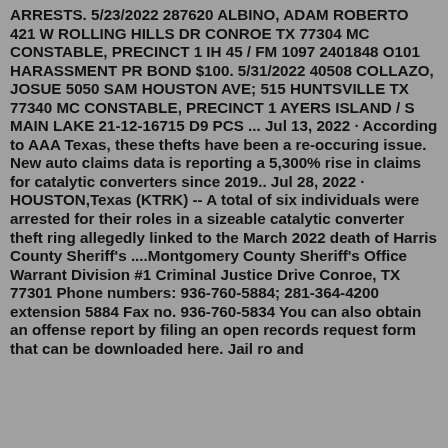ARRESTS. 5/23/2022 287620 ALBINO, ADAM ROBERTO 421 W ROLLING HILLS DR CONROE TX 77304 MC CONSTABLE, PRECINCT 1 IH 45 / FM 1097 2401848 O101 HARASSMENT PR BOND $100. 5/31/2022 40508 COLLAZO, JOSUE 5050 SAM HOUSTON AVE; 515 HUNTSVILLE TX 77340 MC CONSTABLE, PRECINCT 1 AYERS ISLAND / S MAIN LAKE 21-12-16715 D9 PCS ... Jul 13, 2022 · According to AAA Texas, these thefts have been a re-occuring issue. New auto claims data is reporting a 5,300% rise in claims for catalytic converters since 2019.. Jul 28, 2022 · HOUSTON,Texas (KTRK) -- A total of six individuals were arrested for their roles in a sizeable catalytic converter theft ring allegedly linked to the March 2022 death of Harris County Sheriff's ....Montgomery County Sheriff's Office Warrant Division #1 Criminal Justice Drive Conroe, TX 77301 Phone numbers: 936-760-5884; 281-364-4200 extension 5884 Fax no. 936-760-5834 You can also obtain an offense report by filing an open records request form that can be downloaded here. Jail ro and